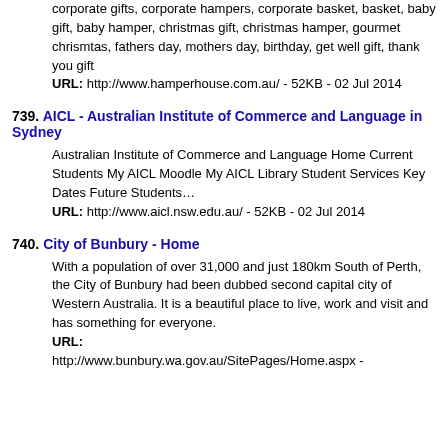corporate gifts, corporate hampers, corporate basket, basket, baby gift, baby hamper, christmas gift, christmas hamper, gourmet chrismtas, fathers day, mothers day, birthday, get well gift, thank you gift URL: http://www.hamperhouse.com.au/ - 52KB - 02 Jul 2014
739. AICL - Australian Institute of Commerce and Language in Sydney
Australian Institute of Commerce and Language Home Current Students My AICL Moodle My AICL Library Student Services Key Dates Future Students… URL: http://www.aicl.nsw.edu.au/ - 52KB - 02 Jul 2014
740. City of Bunbury - Home
With a population of over 31,000 and just 180km South of Perth, the City of Bunbury had been dubbed second capital city of Western Australia. It is a beautiful place to live, work and visit and has something for everyone. URL: http://www.bunbury.wa.gov.au/SitePages/Home.aspx -